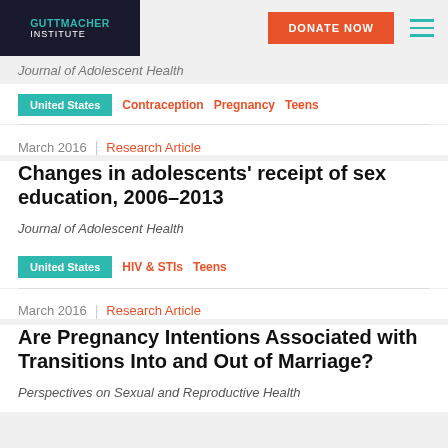GUTTMACHER INSTITUTE | DONATE NOW
Journal of Adolescent Health
United States | Contraception | Pregnancy | Teens
March 2016 | Research Article
Changes in adolescents' receipt of sex education, 2006–2013
Journal of Adolescent Health
United States | HIV & STIs | Teens
March 2016 | Research Article
Are Pregnancy Intentions Associated with Transitions Into and Out of Marriage?
Perspectives on Sexual and Reproductive Health